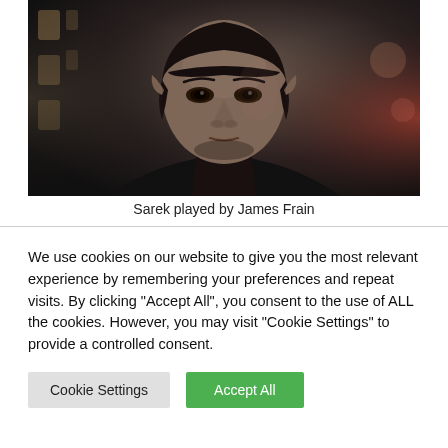[Figure (photo): A man with dark hair and pointed ears wearing a dark high-collared outfit, photographed in a dimly lit scene. This is an actor portraying Sarek from Star Trek.]
Sarek played by James Frain
We use cookies on our website to give you the most relevant experience by remembering your preferences and repeat visits. By clicking "Accept All", you consent to the use of ALL the cookies. However, you may visit "Cookie Settings" to provide a controlled consent.